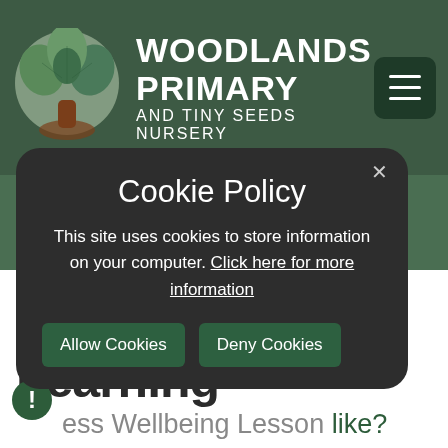[Figure (logo): Woodlands Primary and Tiny Seeds Nursery logo with tree graphic]
WOODLANDS PRIMARY AND TINY SEEDS NURSERY
[Figure (screenshot): Cookie policy modal overlay on school website. Modal contains title 'Cookie Policy', body text 'This site uses cookies to store information on your computer. Click here for more information', and two buttons: 'Allow Cookies' and 'Deny Cookies'.]
Teaching & Learning
Home ... Development >
ess Wellbeing Lesson like?